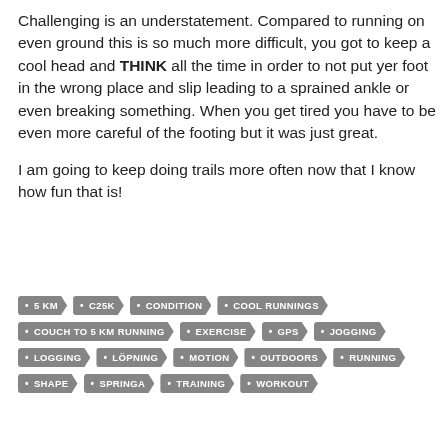Challenging is an understatement. Compared to running on even ground this is so much more difficult, you got to keep a cool head and THINK all the time in order to not put yer foot in the wrong place and slip leading to a sprained ankle or even breaking something. When you get tired you have to be even more careful of the footing but it was just great.

I am going to keep doing trails more often now that I know how fun that is!
5 KM, C25K, CONDITION, COOL RUNNINGS, COUCH TO 5 KM RUNNING, EXERCISE, GPS, JOGGING, LOGGING, LÖPNING, MOTION, OUTDOORS, RUNNING, SHAPE, SPRINGA, TRAINING, WORKOUT